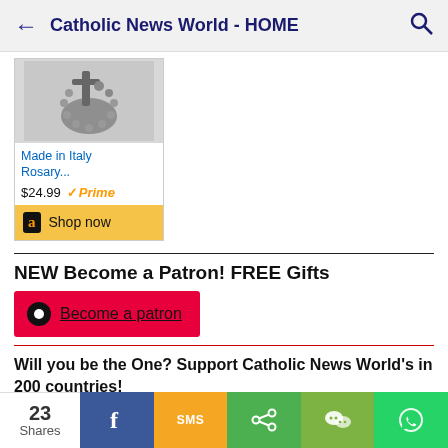Catholic News World - HOME
[Figure (screenshot): Amazon ad showing a rosary product image (partial view of rosary beads/crucifix) with text 'Made in Italy Rosary...' priced at $24.99 with Amazon Prime badge and Shop now button]
NEW Become a Patron! FREE Gifts
Become a patron
Will you be the One? Support Catholic News World's in 200 countries! Donate Click LINK Below to Donate:
23 Shares | Facebook | SMS | Share | WeChat | WhatsApp